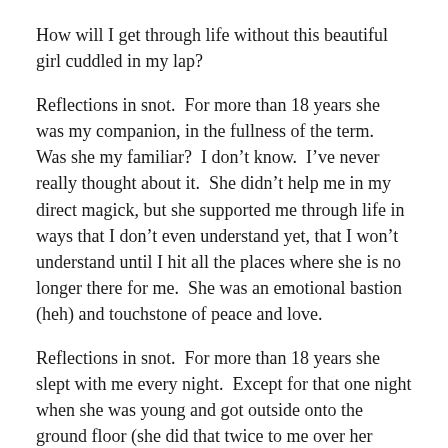How will I get through life without this beautiful girl cuddled in my lap?
Reflections in snot.  For more than 18 years she was my companion, in the fullness of the term.  Was she my familiar?  I don't know.  I've never really thought about it.  She didn't help me in my direct magick, but she supported me through life in ways that I don't even understand yet, that I won't understand until I hit all the places where she is no longer there for me.  She was an emotional bastion (heh) and touchstone of peace and love.
Reflections in snot.  For more than 18 years she slept with me every night.  Except for that one night when she was young and got outside onto the ground floor (she did that twice to me over her lifetime!  but only once when I was asleep) and